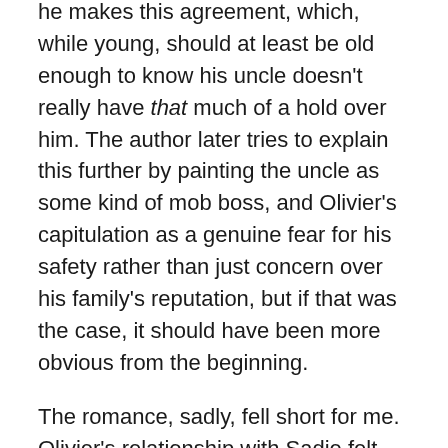he makes this agreement, which, while young, should at least be old enough to know his uncle doesn't really have that much of a hold over him. The author later tries to explain this further by painting the uncle as some kind of mob boss, and Olivier's capitulation as a genuine fear for his safety rather than just concern over his family's reputation, but if that was the case, it should have been more obvious from the beginning.
The romance, sadly, fell short for me. Olivier's relationship with Sadie felt more like super-lust than even insta-love, and for all that the author told us Sadie and Olivier were in love, I couldn't really understand why. Both characters also make major life-altering decisions for their relationship, which is fine, but when their connection feels mostly physical, their decisions are a bit hard to believe.
Partly, it may be because I never really warmed to Sadie